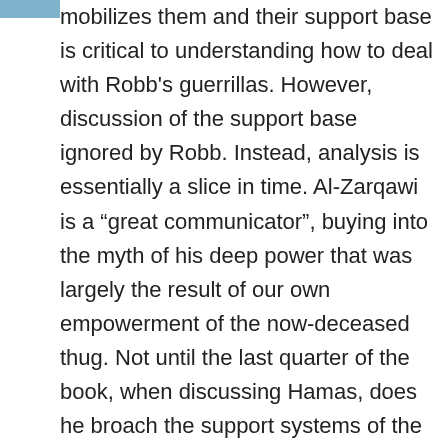mobilizes them and their support base is critical to understanding how to deal with Robb’s guerrillas. However, discussion of the support base ignored by Robb. Instead, analysis is essentially a slice in time. Al-Zarqawi is a “great communicator”, buying into the myth of his deep power that was largely the result of our own empowerment of the now-deceased thug. Not until the last quarter of the book, when discussing Hamas, does he broach the support systems of the guerrillas. Why guerrillas find just enough, if not overwhelming, support to survive, including why they fight, is insufficiently discussed when raised at all.
The need to understand the why is important too in the details of how. While I think the analogy of